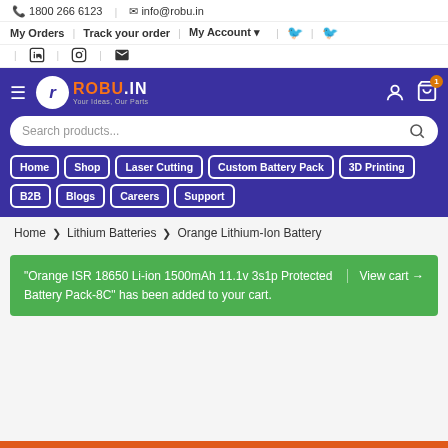1800 266 6123 | info@robu.in
My Orders | Track your order | My Account
[Figure (screenshot): ROBU.IN website navigation header with logo, search bar, and navigation buttons (Home, Shop, Laser Cutting, Custom Battery Pack, 3D Printing, B2B, Blogs, Careers, Support)]
Home > Lithium Batteries > Orange Lithium-Ion Battery
"Orange ISR 18650 Li-ion 1500mAh 11.1v 3s1p Protected Battery Pack-8C" has been added to your cart.
View cart →